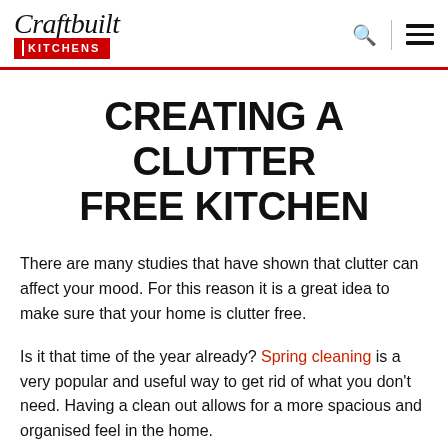Craftbuilt Kitchens logo with search and menu icons
CREATING A CLUTTER FREE KITCHEN
There are many studies that have shown that clutter can affect your mood. For this reason it is a great idea to make sure that your home is clutter free.
Is it that time of the year already? Spring cleaning is a very popular and useful way to get rid of what you don't need. Having a clean out allows for a more spacious and organised feel in the home.